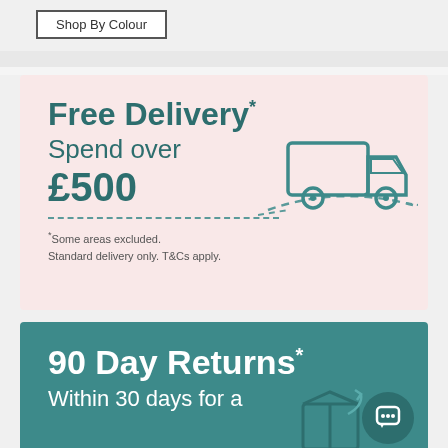[Figure (screenshot): Shop By Colour button - white button with dark border]
[Figure (infographic): Free Delivery banner: pink background, teal text reading 'Free Delivery* Spend over £500' with a dashed line and a delivery truck illustration. Footnote: '*Some areas excluded. Standard delivery only. T&Cs apply.']
[Figure (infographic): 90 Day Returns* banner: teal background, white text reading '90 Day Returns*' and 'Within 30 days for a' with a partial box/returns icon and a chat bubble icon button.]